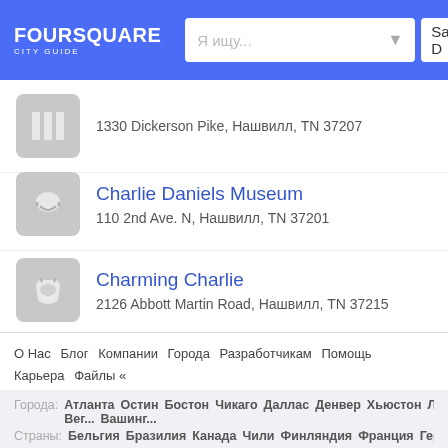[Figure (screenshot): Foursquare City Guide header with logo, search bar showing 'Я ищу...' placeholder with dropdown arrow, and location field showing 'San D']
1330 Dickerson Pike, Нашвилл, TN 37207
Charlie Daniels Museum
110 2nd Ave. N, Нашвилл, TN 37201
Charming Charlie
2126 Abbott Martin Road, Нашвилл, TN 37215
О Нас  Блог  Компании  Города  Разработчикам  Помощь  Карьера  Файлы «  Приватность (Обновлено)  Не Продавайте Мои Личные Данные  Условия  Ру
Города: Атланта Остин Бостон Чикаго Даллас Денвер Хьюстон Лас-Вег... Вашинг...
Страны: Бельгия Бразилия Канада Чили Финляндия Франция Германия В... Сингапур Ис...
Другие интересные места в г. Нашвилл: A B C D E F